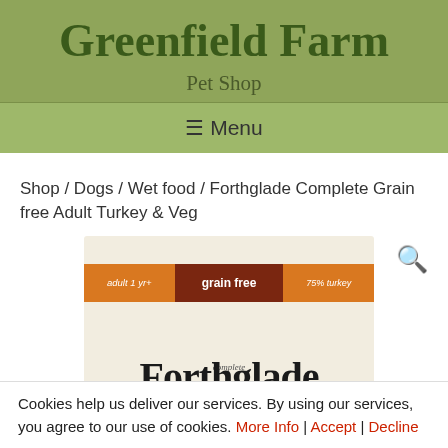Greenfield Farm
Pet Shop
☰ Menu
Shop / Dogs / Wet food / Forthglade Complete Grain free Adult Turkey & Veg
[Figure (photo): Product image of Forthglade Complete Grain Free Adult Turkey & Veg dog food. Shows a box with orange and dark red label bands reading 'adult 1 yr+', 'grain free', '75% turkey', with the Forthglade brand name in large text below.]
Cookies help us deliver our services. By using our services, you agree to our use of cookies. More Info | Accept | Decline